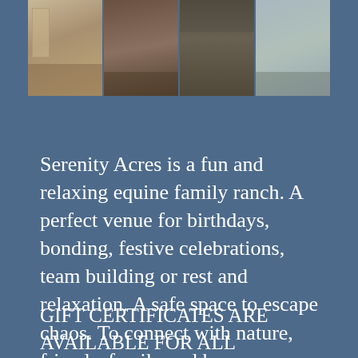[Figure (photo): A horizontal strip of four photos showing people at what appears to be an equine ranch: a room with a sign/display, people around a horse indoors, people near a horse outdoors, and children/adults in a tent or covered area.]
Serenity Acres is a fun and relaxing equine family ranch. A perfect venue for birthdays, bonding, festive celebrations, team building or rest and relaxation. A safe space to escape chaos. To connect with nature, friends, family and horses.
GIFT CERTIFICATES ARE AVAILABLE FOR ALL SERVICES!